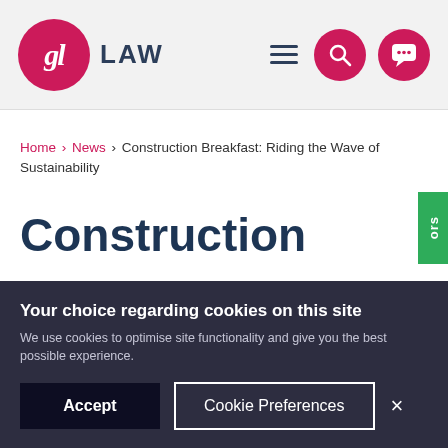gl LAW [navigation icons: hamburger, search, chat]
Home › News › Construction Breakfast: Riding the Wave of Sustainability
Construction
Your choice regarding cookies on this site
We use cookies to optimise site functionality and give you the best possible experience.
[Accept] [Cookie Preferences] [×]